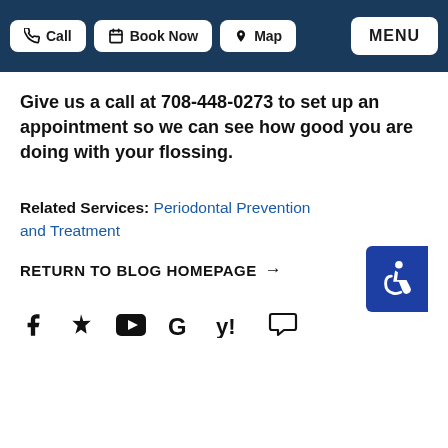Call | Book Now | Map | MENU
Give us a call at 708-448-0273 to set up an appointment so we can see how good you are doing with your flossing.
Related Services: Periodontal Prevention and Treatment
RETURN TO BLOG HOMEPAGE →
[Figure (infographic): Social media icons row: Facebook, Yelp, YouTube, Google, Yahoo, speech bubble icon]
[Figure (infographic): Accessibility icon button (wheelchair symbol) on dark blue background, positioned on the right side]